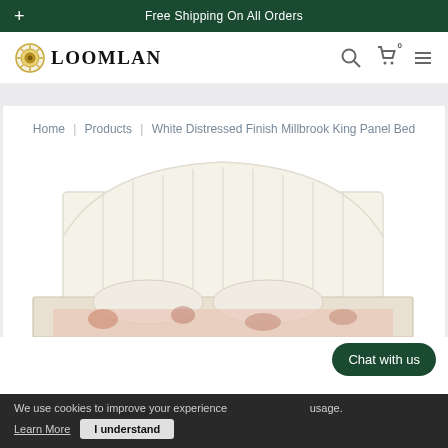+ Free Shipping On All Orders
[Figure (logo): LOOMLAN logo with circular sun/gear emblem and bold serif text]
Home | Products | White Distressed Finish Millbrook King Panel Bed
[Figure (photo): White distressed finish panel bed headboard with arched top and vertical slat panels, with patterned bedding visible]
We use cookies to improve your experience ... usage.
Learn More  I understand
Chat with us